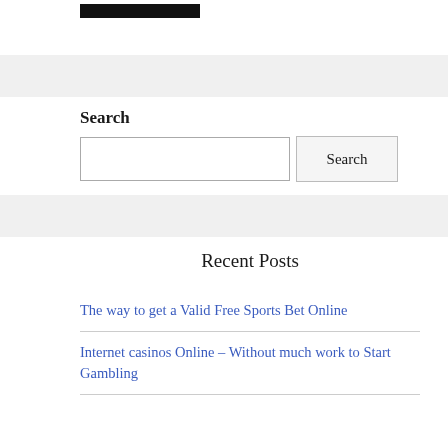[Figure (logo): Black rectangular logo bar at top]
Search
Search input field with Search button
Recent Posts
The way to get a Valid Free Sports Bet Online
Internet casinos Online – Without much work to Start Gambling